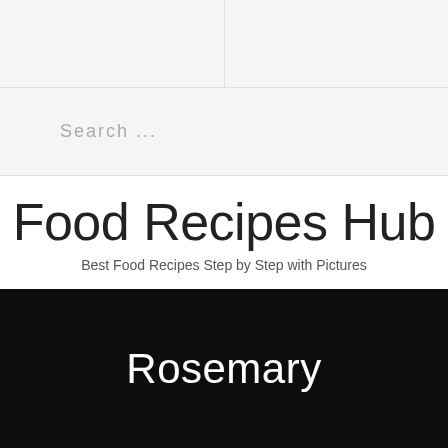Search ...
Food Recipes Hub
Best Food Recipes Step by Step with Pictures
Rosemary